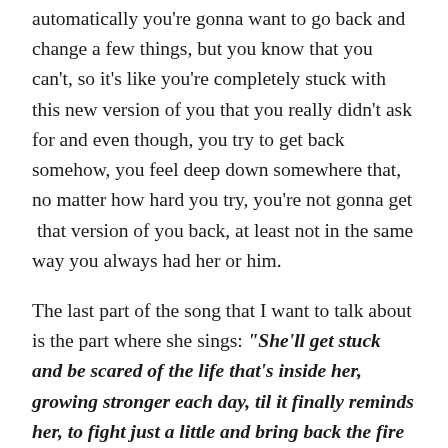automatically you're gonna want to go back and change a few things, but you know that you can't, so it's like you're completely stuck with this new version of you that you really didn't ask for and even though, you try to get back somehow, you feel deep down somewhere that, no matter how hard you try, you're not gonna get  that version of you back, at least not in the same way you always had her or him.
The last part of the song that I want to talk about is the part where she sings: "She'll get stuck and be scared of the life that's inside her, growing stronger each day, til it finally reminds her, to fight just a little and bring back the fire in her eyes, that's been gone, but used to be mine" Now this part always gives me goosebumps and sometimes